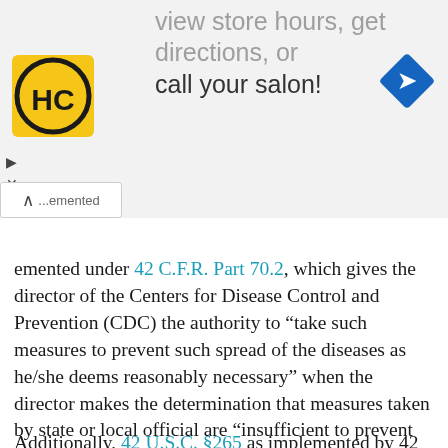[Figure (screenshot): Advertisement banner at top of page showing partial text 'view store hours, get directions, or call your salon!' with HC logo (yellow circle with HC text) on the left and a blue diamond navigation arrow icon on the right. Also shows play and close icons on the left edge.]
...emented under 42 C.F.R. Part 70.2, which gives the director of the Centers for Disease Control and Prevention (CDC) the authority to “take such measures to prevent such spread of the diseases as he/she deems reasonably necessary” when the director makes the determination that measures taken by state or local official are “insufficient to prevent the spread of … communicable diseases.” As Chesney recently suggested, Section 264 could plausibly be the authority for a federally imposed regional quarantine, though the president has since backed away from his sudden proposal to quarantine the states of New Jersey, New York and Connecticut.
Additionally, 42 U.S.C. §265 as implemented by 42...